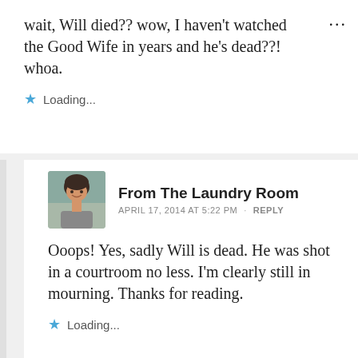wait, Will died?? wow, I haven't watched the Good Wife in years and he's dead??! whoa.
Loading...
From The Laundry Room
APRIL 17, 2014 AT 5:22 PM · REPLY
Ooops! Yes, sadly Will is dead. He was shot in a courtroom no less. I'm clearly still in mourning. Thanks for reading.
Loading...